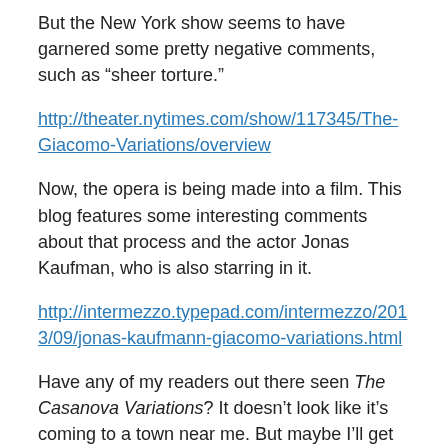But the New York show seems to have garnered some pretty negative comments, such as “sheer torture.”
http://theater.nytimes.com/show/117345/The-Giacomo-Variations/overview
Now, the opera is being made into a film. This blog features some interesting comments about that process and the actor Jonas Kaufman, who is also starring in it.
http://intermezzo.typepad.com/intermezzo/2013/09/jonas-kaufmann-giacomo-variations.html
Have any of my readers out there seen The Casanova Variations? It doesn’t look like it’s coming to a town near me. But maybe I’ll get to see it. I once flew to Paris for the big exhibit of Casanova’s memoirs, so you never know!